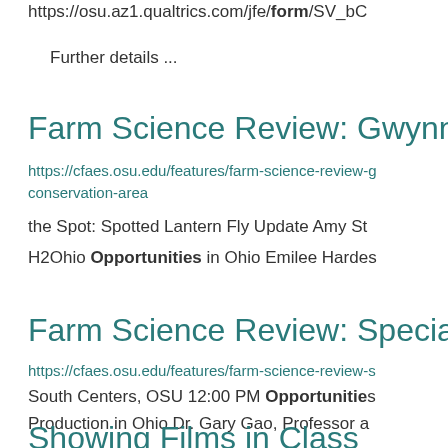https://osu.az1.qualtrics.com/jfe/form/SV_bC…
Further details ...
Farm Science Review: Gwynne Conse…
https://cfaes.osu.edu/features/farm-science-review-g…conservation-area
the Spot: Spotted Lantern Fly Update Amy St…
H2Ohio Opportunities in Ohio Emilee Hardes…
Farm Science Review: Specialty Crop…
https://cfaes.osu.edu/features/farm-science-review-s…
South Centers, OSU 12:00 PM Opportunities…
Production in Ohio Dr. Gary Gao, Professor a…
Showing Films in Class…